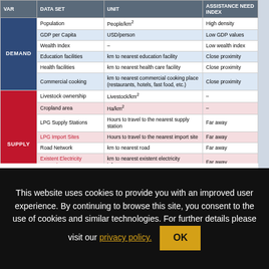| VAR | DATA SET | UNIT | ASSISTANCE NEED INDEX |
| --- | --- | --- | --- |
| DEMAND | Population | People/km² | High density |
|  | GDP per Capita | USD/person | Low GDP values |
|  | Wealth Index | – | Low wealth index |
|  | Education facilities | km to nearest education facility | Close proximity |
|  | Health facilities | km to nearest health care facility | Close proximity |
|  | Commercial cooking | km to nearest commercial cooking place (restaurants, hotels, fast food, etc.) | Close proximity |
| SUPPLY | Livestock ownership | Livestock/km² | – |
|  | Cropland area | Ha/km² | – |
|  | LPG Supply Stations | Hours to travel to the nearest supply station | Far away |
|  | LPG Import Sites | Hours to travel to the nearest import site | Far away |
|  | Road Network | km to nearest road | Far away |
|  | Existent Electricity Network | km to nearest existent electricity infrastructure | Far away |
|  | Planned Electricity Network | km to nearest planned electricity infrastructure | Far away |
|  | Mini-grids | km to nearest mini-grid | Far away |
The Finance Need Index identifies population and regions that may be in need of financial assistance for
This website uses cookies to provide you with an improved user experience. By continuing to browse this site, you consent to the use of cookies and similar technologies. For further details please visit our privacy policy. OK